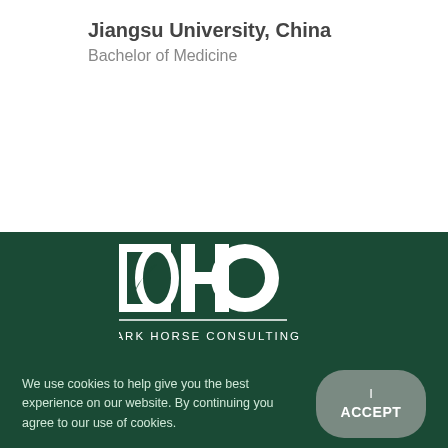Jiangsu University, China
Bachelor of Medicine
[Figure (logo): Dark Horse Consulting logo with DHC letters and horse silhouette, white on dark green background, with text 'DARK HORSE CONSULTING' below]
We use cookies to help give you the best experience on our website. By continuing you agree to our use of cookies.
I ACCEPT